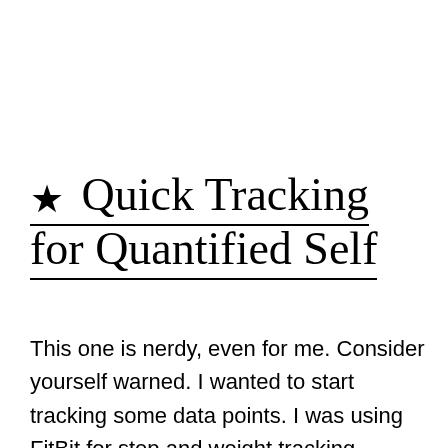★ Quick Tracking for Quantified Self
This one is nerdy, even for me. Consider yourself warned. I wanted to start tracking some data points. I was using FitBit for step and weight tracking, MyFitnessPal to track calories, and mood